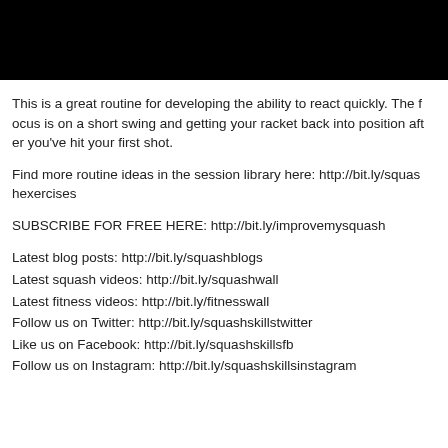[Figure (photo): Black rectangle at the top of the page, likely a video thumbnail placeholder]
This is a great routine for developing the ability to react quickly. The focus is on a short swing and getting your racket back into position after you've hit your first shot.
Find more routine ideas in the session library here: http://bit.ly/squashexercises
SUBSCRIBE FOR FREE HERE: http://bit.ly/improvemysquash
Latest blog posts: http://bit.ly/squashblogs
Latest squash videos: http://bit.ly/squashwall
Latest fitness videos: http://bit.ly/fitnesswall
Follow us on Twitter: http://bit.ly/squashskillstwitter
Like us on Facebook: http://bit.ly/squashskillsfb
Follow us on Instagram: http://bit.ly/squashskillsinstagram